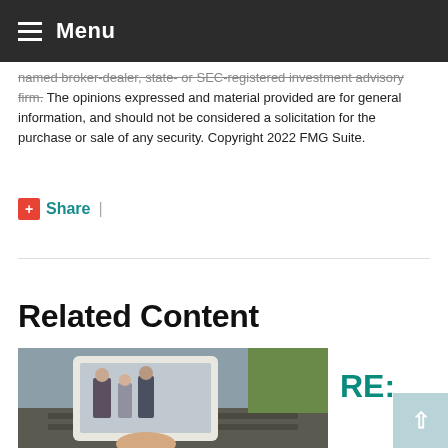Menu
named broker-dealer, state- or SEC-registered investment advisory firm. The opinions expressed and material provided are for general information, and should not be considered a solicitation for the purchase or sale of any security. Copyright 2022 FMG Suite.
+Share |
Related Content
[Figure (photo): Person holding a tablet device showing an image of an older couple, photographed outdoors near a railway or gravel path with vegetation in the background.]
RE: